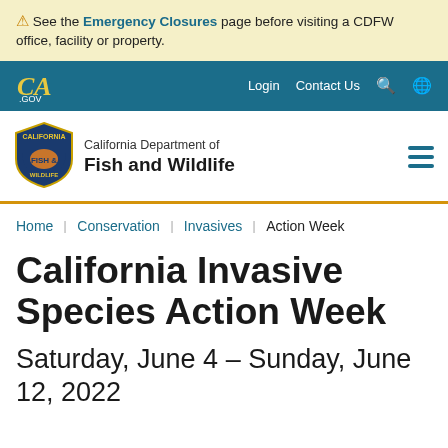⚠ See the Emergency Closures page before visiting a CDFW office, facility or property.
CA.GOV | Login | Contact Us
[Figure (logo): California Department of Fish and Wildlife shield logo with state bear and California text]
California Department of Fish and Wildlife
Home ▸ Conservation ▸ Invasives ▸ Action Week
California Invasive Species Action Week
Saturday, June 4 – Sunday, June 12, 2022